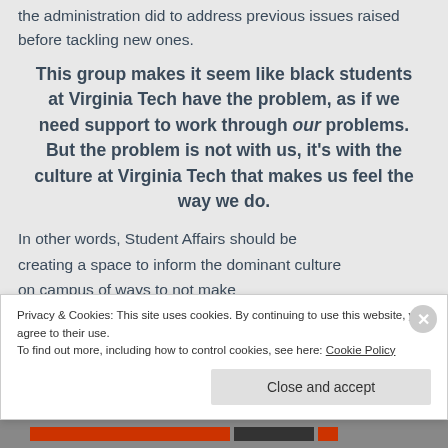the administration did to address previous issues raised before tackling new ones.
This group makes it seem like black students at Virginia Tech have the problem, as if we need support to work through our problems. But the problem is not with us, it's with the culture at Virginia Tech that makes us feel the way we do.
In other words, Student Affairs should be creating a space to inform the dominant culture on campus of ways to not make
Privacy & Cookies: This site uses cookies. By continuing to use this website, you agree to their use.
To find out more, including how to control cookies, see here: Cookie Policy